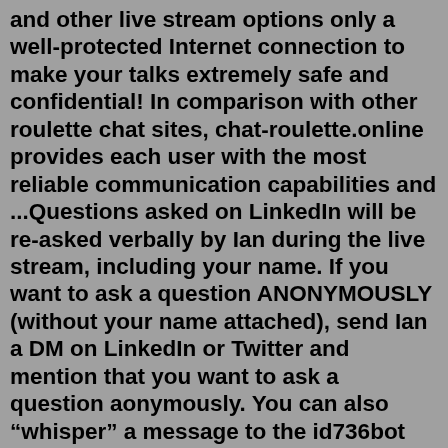and other live stream options only a well-protected Internet connection to make your talks extremely safe and confidential! In comparison with other roulette chat sites, chat-roulette.online provides each user with the most reliable communication capabilities and ...Questions asked on LinkedIn will be re-asked verbally by Ian during the live stream, including your name. If you want to ask a question ANONYMOUSLY (without your name attached), send Ian a DM on LinkedIn or Twitter and mention that you want to ask a question aonymously. You can also “whisper” a message to the id736bot which will then show ... Online random video conversation with a foreign and cute personality is the service of the official website. This site is working on a random video chat method where any stranger can join the communication channel as a random user. At the end of both webcam video chat, random strangers broadcast live with each other. Chat Roulette-it's easyJun 16, 2022 · Top 4 Highest Ranked Self Monitored Home Security Systems for 2022...